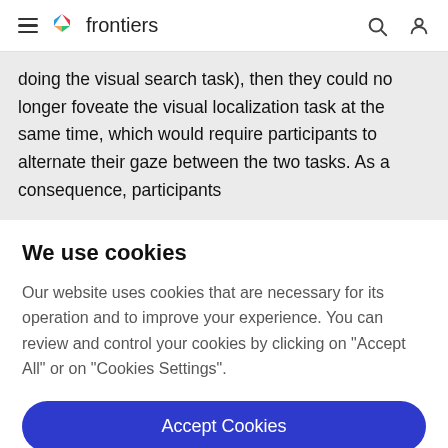≡ frontiers
doing the visual search task), then they could no longer foveate the visual localization task at the same time, which would require participants to alternate their gaze between the two tasks. As a consequence, participants
We use cookies
Our website uses cookies that are necessary for its operation and to improve your experience. You can review and control your cookies by clicking on "Accept All" or on "Cookies Settings".
Accept Cookies
Cookies Settings